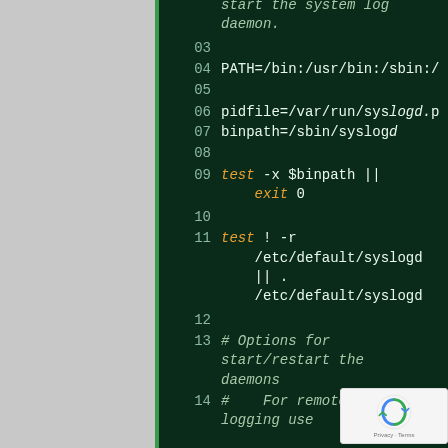[Figure (screenshot): Shell script code editor screenshot on dark green background showing lines 03-14 of a syslog daemon init script. Lines shown include PATH variable, pidfile, binpath variables, test commands, and comments about daemon start/restart options.]